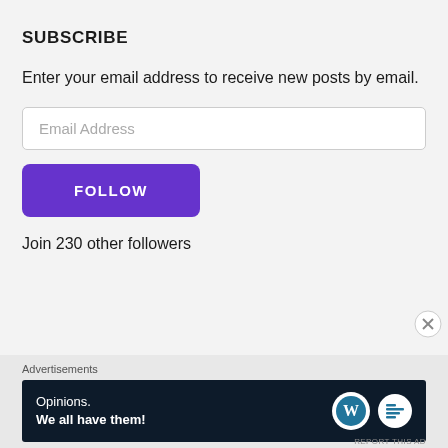SUBSCRIBE
Enter your email address to receive new posts by email.
Email Address
FOLLOW
Join 230 other followers
Advertisements
[Figure (other): Advertisement banner: Opinions. We all have them! with WordPress and Blog logos on dark navy background]